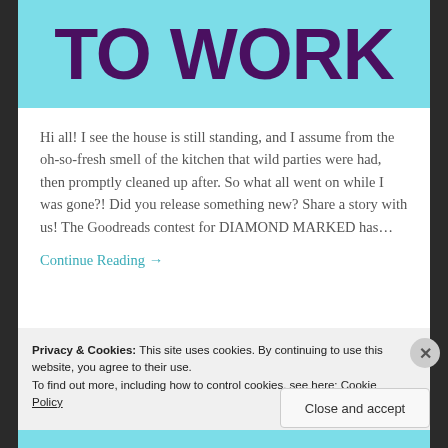TO WORK
Hi all! I see the house is still standing, and I assume from the oh-so-fresh smell of the kitchen that wild parties were had, then promptly cleaned up after. So what all went on while I was gone?! Did you release something new? Share a story with us! The Goodreads contest for DIAMOND MARKED has...
Continue Reading →
Privacy & Cookies: This site uses cookies. By continuing to use this website, you agree to their use.
To find out more, including how to control cookies, see here: Cookie Policy
Close and accept